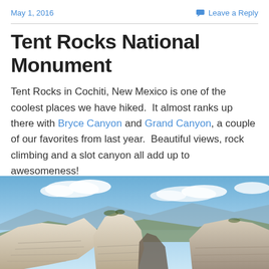May 1, 2016
Leave a Reply
Tent Rocks National Monument
Tent Rocks in Cochiti, New Mexico is one of the coolest places we have hiked.  It almost ranks up there with Bryce Canyon and Grand Canyon, a couple of our favorites from last year.  Beautiful views, rock climbing and a slot canyon all add up to awesomeness!
[Figure (photo): Panoramic photo of Tent Rocks National Monument showing white layered rock formations against a blue sky with clouds and mountains in the background]